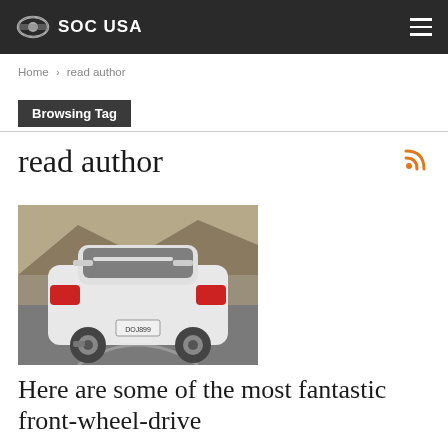SOC USA
Home > read author
Browsing Tag
read author
[Figure (photo): Rear view of a white Honda Acura Integra sports car driving on a winding road through rocky terrain, license plate DOJ899]
Here are some of the most fantastic front-wheel-drive